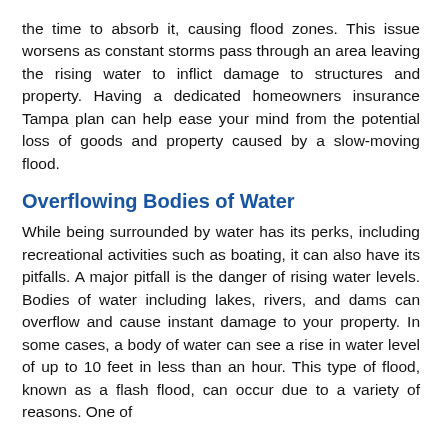the time to absorb it, causing flood zones. This issue worsens as constant storms pass through an area leaving the rising water to inflict damage to structures and property. Having a dedicated homeowners insurance Tampa plan can help ease your mind from the potential loss of goods and property caused by a slow-moving flood.
Overflowing Bodies of Water
While being surrounded by water has its perks, including recreational activities such as boating, it can also have its pitfalls. A major pitfall is the danger of rising water levels. Bodies of water including lakes, rivers, and dams can overflow and cause instant damage to your property. In some cases, a body of water can see a rise in water level of up to 10 feet in less than an hour. This type of flood, known as a flash flood, can occur due to a variety of reasons. One of